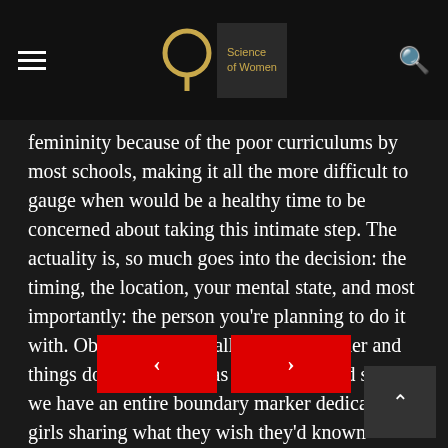Science of Women
femininity because of the poor curriculums by most schools, making it all the more difficult to gauge when would be a healthy time to be concerned about taking this intimate step. The actuality is, so much goes into the decision: the timing, the location, your mental state, and most importantly: the person you're planning to do it with. Obviously this is all a lot to consider and things don't always go as planned — and so why we have an entire boundary marker dedicated to girls sharing what they wish they'd known before having femininity for the first time.
[Figure (other): Navigation buttons: left arrow (previous) and right arrow (next), both red rectangles. A grey back-to-top button in the bottom right corner.]